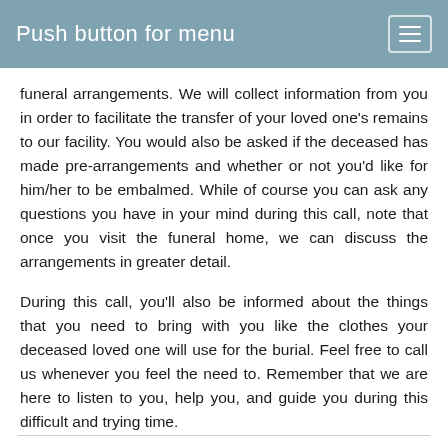Push button for menu
funeral arrangements. We will collect information from you in order to facilitate the transfer of your loved one's remains to our facility. You would also be asked if the deceased has made pre-arrangements and whether or not you'd like for him/her to be embalmed. While of course you can ask any questions you have in your mind during this call, note that once you visit the funeral home, we can discuss the arrangements in greater detail.
During this call, you'll also be informed about the things that you need to bring with you like the clothes your deceased loved one will use for the burial. Feel free to call us whenever you feel the need to. Remember that we are here to listen to you, help you, and guide you during this difficult and trying time.